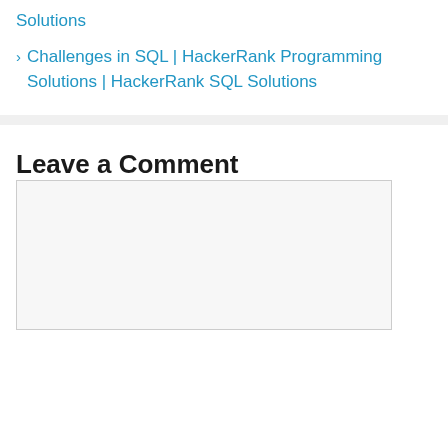Solutions
> Challenges in SQL | HackerRank Programming Solutions | HackerRank SQL Solutions
Leave a Comment
[Figure (other): Empty comment text area input box]